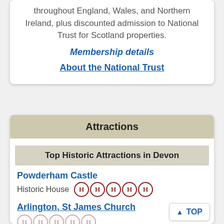throughout England, Wales, and Northern Ireland, plus discounted admission to National Trust for Scotland properties.
Membership details
About the National Trust
Attractions
Top Historic Attractions in Devon
Powderham Castle
Historic House  HHHHH
Arlington, St James Church